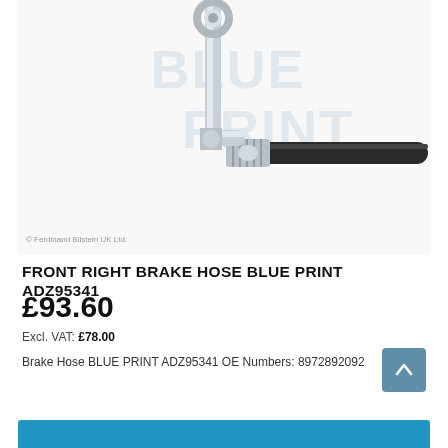[Figure (photo): Close-up photo of a metal brake hose (Blue Print ADZ95341) showing a chrome-plated steel banjo fitting and braided hose end, with 'BLUE PRINT' watermark overlay and '© Ferdinand Bilstein UK Ltd.' copyright text]
FRONT RIGHT BRAKE HOSE BLUE PRINT ADZ95341
£93.60
Excl. VAT: £78.00
Brake Hose BLUE PRINT ADZ95341 OE Numbers: 8972892092